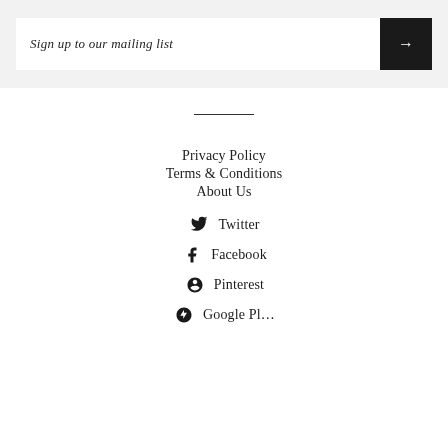Sign up to our mailing list
Privacy Policy
Terms & Conditions
About Us
Twitter
Facebook
Pinterest
Google Pl…